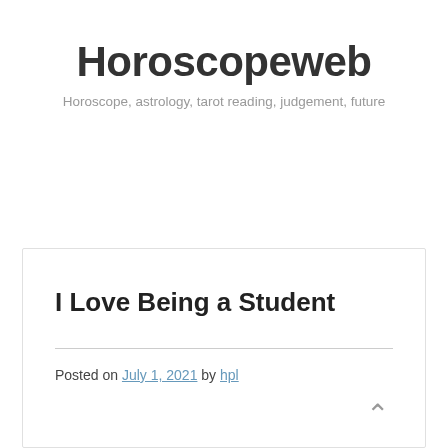Horoscopeweb
Horoscope, astrology, tarot reading, judgement, future
I Love Being a Student
Posted on July 1, 2021 by hpl